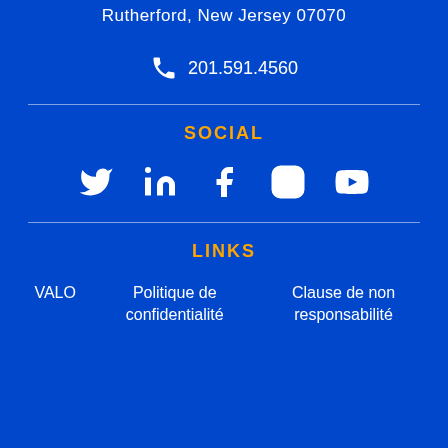Rutherford, New Jersey 07070
201.591.4560
SOCIAL
[Figure (infographic): Social media icons: Twitter, LinkedIn, Facebook, Instagram, YouTube]
LINKS
VALO
Politique de confidentialité
Clause de non responsabilité